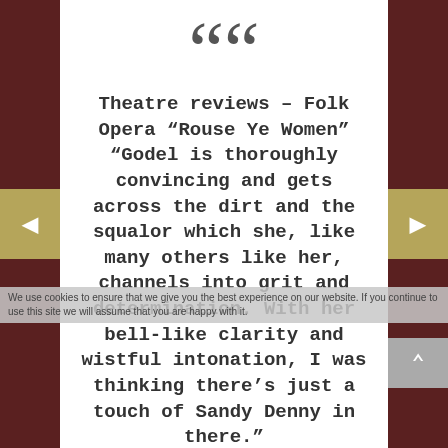““ Theatre reviews – Folk Opera “Rouse Ye Women” “Godel is thoroughly convincing and gets across the dirt and the squalor which she, like many others like her, channels into grit and determination. With her bell-like clarity and wistful intonation, I was thinking there’s just a touch of Sandy Denny in there.”